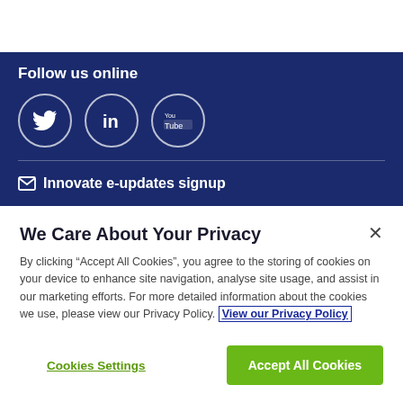Follow us online
[Figure (illustration): Three social media icon circles: Twitter (bird icon), LinkedIn (in logo), YouTube (You Tube logo), outlined in white on dark blue background]
✉ Innovate e-updates signup
We Care About Your Privacy
By clicking "Accept All Cookies", you agree to the storing of cookies on your device to enhance site navigation, analyse site usage, and assist in our marketing efforts. For more detailed information about the cookies we use, please view our Privacy Policy. View our Privacy Policy
Cookies Settings
Accept All Cookies